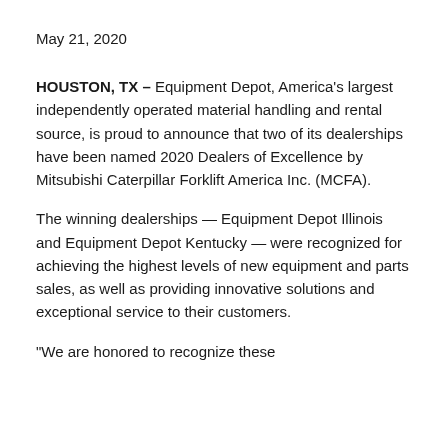May 21, 2020
HOUSTON, TX – Equipment Depot, America's largest independently operated material handling and rental source, is proud to announce that two of its dealerships have been named 2020 Dealers of Excellence by Mitsubishi Caterpillar Forklift America Inc. (MCFA).
The winning dealerships — Equipment Depot Illinois and Equipment Depot Kentucky — were recognized for achieving the highest levels of new equipment and parts sales, as well as providing innovative solutions and exceptional service to their customers.
“We are honored to recognize these